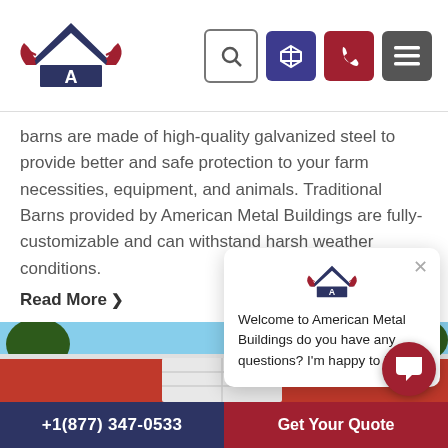[Figure (logo): American Metal Buildings logo with eagle wings and A letter mark in red, white, and navy blue]
barns are made of high-quality galvanized steel to provide better and safe protection to your farm necessities, equipment, and animals. Traditional Barns provided by American Metal Buildings are fully-customizable and can withstand harsh weather conditions.
Read More ❯
[Figure (photo): Red metal barn building with white garage door, blue sky, and trees in background]
[Figure (screenshot): Chat popup with American Metal Buildings logo and message: Welcome to American Metal Buildings do you have any questions? I'm happy to help.]
+1(877) 347-0533   Get Your Quote